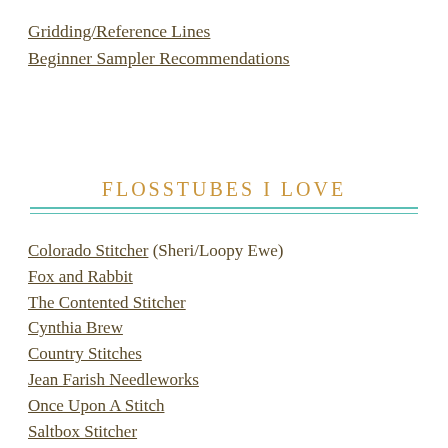Gridding/Reference Lines
Beginner Sampler Recommendations
FLOSSTUBES I LOVE
Colorado Stitcher (Sheri/Loopy Ewe)
Fox and Rabbit
The Contented Stitcher
Cynthia Brew
Country Stitches
Jean Farish Needleworks
Once Upon A Stitch
Saltbox Stitcher
Little Yellow House Crafts